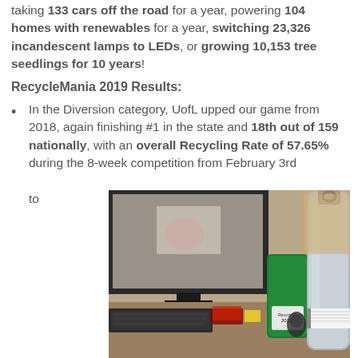taking 133 cars off the road for a year, powering 104 homes with renewables for a year, switching 23,326 incandescent lamps to LEDs, or growing 10,153 tree seedlings for 10 years!
RecycleMania 2019 Results:
In the Diversion category, UofL upped our game from 2018, again finishing #1 in the state and 18th out of 159 nationally, with an overall Recycling Rate of 57.65% during the 8-week competition from February 3rd to
[Figure (photo): Photo of a silver reusable water bottle and a green tumbler cup on a desk with a keyboard and computer monitor in the background]